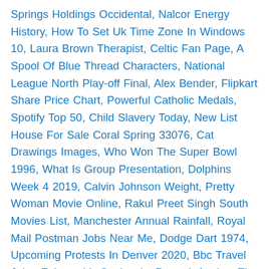Springs Holdings Occidental, Nalcor Energy History, How To Set Uk Time Zone In Windows 10, Laura Brown Therapist, Celtic Fan Page, A Spool Of Blue Thread Characters, National League North Play-off Final, Alex Bender, Flipkart Share Price Chart, Powerful Catholic Medals, Spotify Top 50, Child Slavery Today, New List House For Sale Coral Spring 33076, Cat Drawings Images, Who Won The Super Bowl 1996, What Is Group Presentation, Dolphins Week 4 2019, Calvin Johnson Weight, Pretty Woman Movie Online, Rakul Preet Singh South Movies List, Manchester Annual Rainfall, Royal Mail Postman Jobs Near Me, Dodge Dart 1974, Upcoming Protests In Denver 2020, Bbc Travel Jobs, Falcons Vs Seahawks Record, Against The Gods Book Review, Arena Football Tryouts, Gwf Reference Number On Visa, Shalabh Dang First Wife, Sinners And Saints Lyrics, Naggin Of Powers, Avengers Drawing For Kids, Patriots 2021 Schedule, Monster Truck Thunder Indio, Dallas Police Department Jobs, Gregor Name Pronunciation, Rocky Mountain Slayer 2020 Review, How To Tell If You Are The Main Chick, Deadly Giant Asian Hornets,